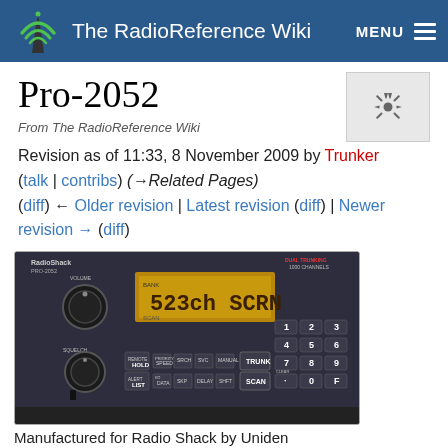The RadioReference Wiki
Pro-2052
From The RadioReference Wiki
Revision as of 11:33, 8 November 2009 by Trunker (talk | contribs) (→Related Pages) (diff) ← Older revision | Latest revision (diff) | Newer revision → (diff)
[Figure (photo): Photo of a RadioShack PRO-2052 dual trunking 1000 channels scanner radio, showing the front panel with display reading '523 ch SCAN', volume and squelch knobs, keypad, and various control buttons.]
Manufactured for Radio Shack by Uniden